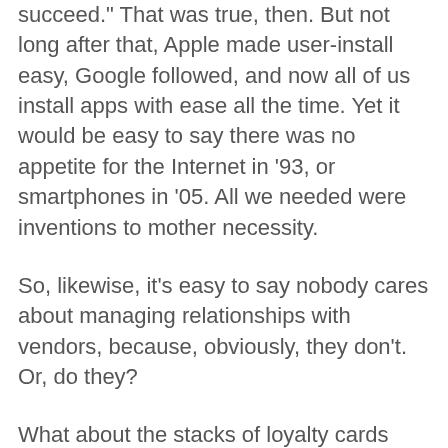succeed." That was true, then. But not long after that, Apple made user-install easy, Google followed, and now all of us install apps with ease all the time. Yet it would be easy to say there was no appetite for the Internet in '93, or smartphones in '05. All we needed were inventions to mother necessity.
So, likewise, it's easy to say nobody cares about managing relationships with vendors, because, obviously, they don't. Or, do they?
What about the stacks of loyalty cards people keep on keychains, in their wallets and purses, or in the armrests of their cars? That's a crude form of management. What about clipping and carrying coupons, or spending hours or days adding up "points" from credit cards to trade in for miles on airlines? (I have a friend who is obsessed with doing that.) What about going over stacks of receipts and trying to match them up with credit card bills — arduously reviewing old calendars to see what we did and when, so we